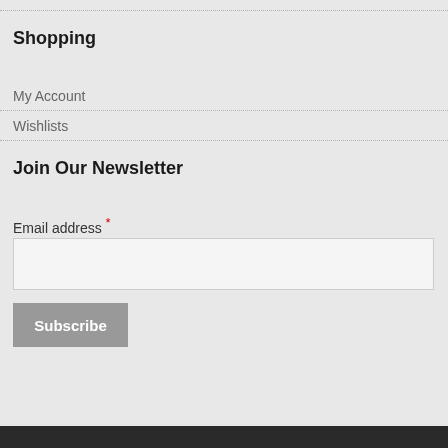Shopping
My Account
Wishlists
Join Our Newsletter
Email address *
Subscribe